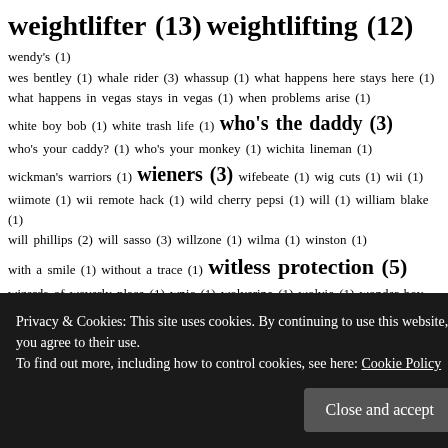weightlifter (13) weightlifting (12) wendy's (1) wes bentley (1) whale rider (3) whassup (1) what happens here stays here (1) what happens in vegas stays in vegas (1) when problems arise (1) white boy bob (1) white trash life (1) who's the daddy (3) who's your caddy? (1) who's your monkey (1) wichita lineman (1) wickman's warriors (1) wieners (3) wifebeate (1) wig cuts (1) wii (1) wiimote (1) wii remote hack (1) wild cherry pepsi (1) will (1) william blake (1) will phillips (2) will sasso (3) willzone (1) wilma (1) winston (1) with a smile (1) without a trace (1) witless protection (5) wizards of waverly place (1) wnjc (1) wolverine (1) wolvie (1) wonder boy (1) woofy winner wednesday (10) wordgirl (1) working out (3) world's strongest man (39) world's strongest man 2007 (2) world athletics championships 2009 (1) world series (1) worst poker faces ever (1) wrestlemania II (1) wrestler (30) wrestlers (6) wrestling (32)
Privacy & Cookies: This site uses cookies. By continuing to use this website, you agree to their use. To find out more, including how to control cookies, see here: Cookie Policy